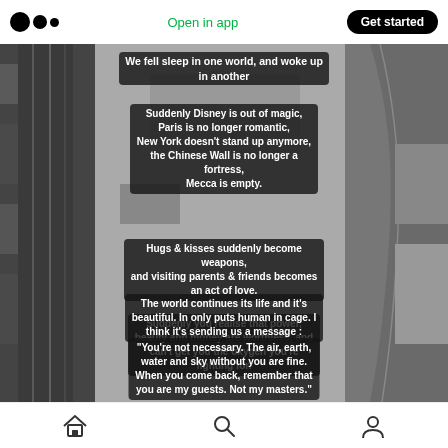Open in app | Get started
[Figure (photo): Black and white aerial photograph of a curved highway/road interchange with surrounding urban areas. Overlaid on the image are multiple text blocks with white bold text on dark semi-transparent backgrounds containing a philosophical/poetic message about COVID-19 pandemic.]
We fell sleep in one world, and woke up in another
Suddenly Disney is out of magic, Paris is no longer romantic, New York doesn't stand up anymore, the Chinese Wall is no longer a fortress, Mecca is empty.
Hugs & kisses suddenly become weapons, and visiting parents & friends becomes an act of love.
Suddenly you realise that power, beauty and money are worthless, and can't get you the oxygen you're fighting for.
The world continues its life and it's beautiful. In only puts human in cage. I think it's sending us a message :
"You're not necessary. The air, earth, water and sky without you are fine. When you come back, remember that you are my guests. Not my masters."
Home | Search | Profile